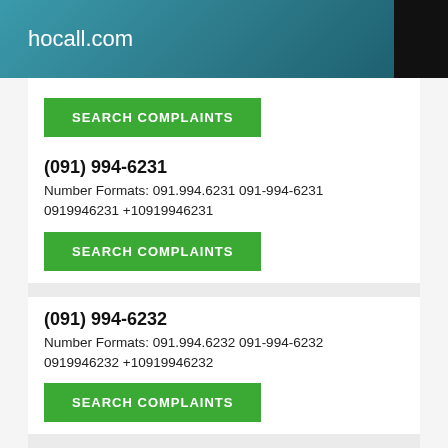hocall.com
SEARCH COMPLAINTS
(091) 994-6231
Number Formats: 091.994.6231 091-994-6231 0919946231 +10919946231
SEARCH COMPLAINTS
(091) 994-6232
Number Formats: 091.994.6232 091-994-6232 0919946232 +10919946232
SEARCH COMPLAINTS
(091) 994-6233
Number Formats: 091.994.6233 091-994-6233 0919946233 +10919946233